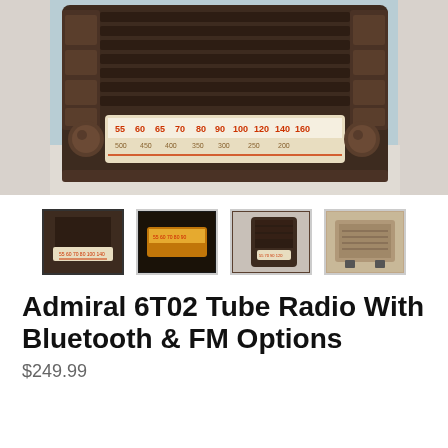[Figure (photo): Close-up photo of a vintage Admiral 6T02 tube radio showing the front face with horizontal louvered grille in dark brown Bakelite, a dial display showing AM frequencies 55-160 and shortwave frequencies, and two round knobs on either side. Background is light blue/white surface.]
[Figure (photo): Four thumbnail images of the Admiral 6T02 tube radio: front view (selected/highlighted), glowing dial detail, angled side view, and rear/bottom view showing components.]
Admiral 6T02 Tube Radio With Bluetooth & FM Options
$249.99